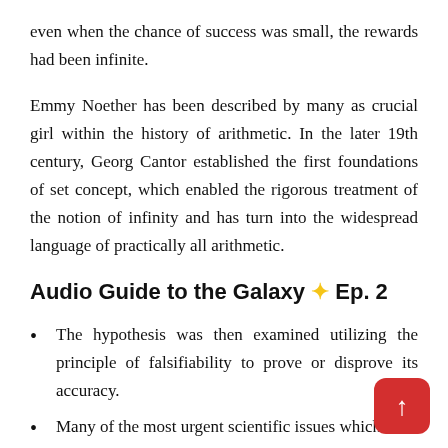even when the chance of success was small, the rewards had been infinite.
Emmy Noether has been described by many as crucial girl within the history of arithmetic. In the later 19th century, Georg Cantor established the first foundations of set concept, which enabled the rigorous treatment of the notion of infinity and has turn into the widespread language of practically all arithmetic.
Audio Guide to the Galaxy ✨ Ep. 2
The hypothesis was then examined utilizing the principle of falsifiability to prove or disprove its accuracy.
Many of the most urgent scientific issues which